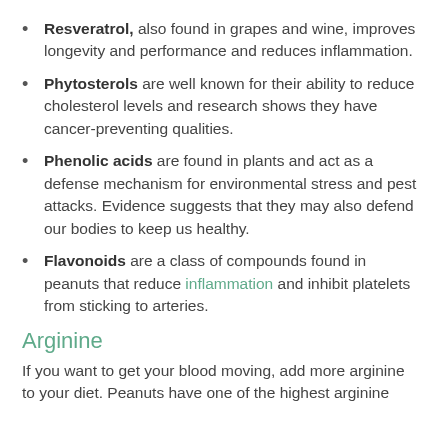Resveratrol, also found in grapes and wine, improves longevity and performance and reduces inflammation.
Phytosterols are well known for their ability to reduce cholesterol levels and research shows they have cancer-preventing qualities.
Phenolic acids are found in plants and act as a defense mechanism for environmental stress and pest attacks. Evidence suggests that they may also defend our bodies to keep us healthy.
Flavonoids are a class of compounds found in peanuts that reduce inflammation and inhibit platelets from sticking to arteries.
Arginine
If you want to get your blood moving, add more arginine to your diet. Peanuts have one of the highest arginine